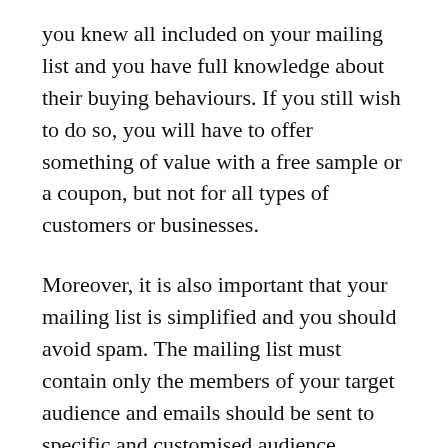you knew all included on your mailing list and you have full knowledge about their buying behaviours. If you still wish to do so, you will have to offer something of value with a free sample or a coupon, but not for all types of customers or businesses.
Moreover, it is also important that your mailing list is simplified and you should avoid spam. The mailing list must contain only the members of your target audience and emails should be sent to specific and customised audience.
Follow the Modern Marketing Styles